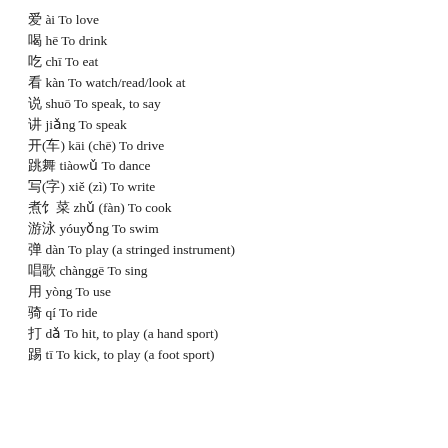愛 ài To love
喝 hē To drink
吃 chī To eat
看 kàn To watch/read/look at
说 shuō To speak, to say
讲 jiǎng To speak
开(车) kāi (chē) To drive
跳舞 tiàowǔ To dance
写(字) xiě (zì) To write
煮饭菜 zhǔ (fàn) To cook
游泳 yóuyǒng To swim
弹 dàn To play (a stringed instrument)
唱歌 chànggē To sing
用 yòng To use
骑 qí To ride
打 dǎ To hit, to play (a hand sport)
踢 tī To kick, to play (a foot sport)